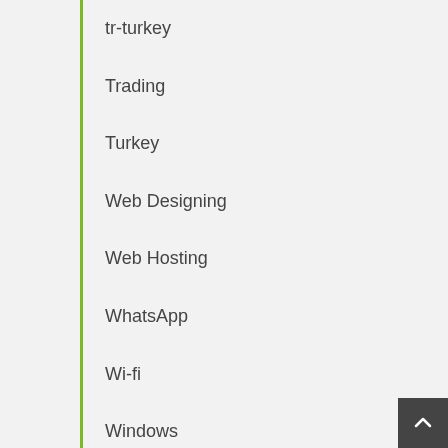tr-turkey
Trading
Turkey
Web Designing
Web Hosting
WhatsApp
Wi-fi
Windows
Wordpress
Writing
YouTube